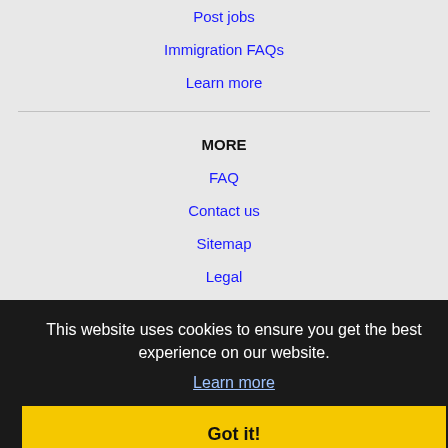Post jobs
Immigration FAQs
Learn more
MORE
FAQ
Contact us
Sitemap
Legal
Privacy
NEARBY CITIES
Antioch, CA Jobs
Arden-Arcade, CA Jobs
Berkeley, CA Jobs
Brentwood, CA Jobs
Carmichael, CA Jobs
This website uses cookies to ensure you get the best experience on our website.
Learn more
Got it!